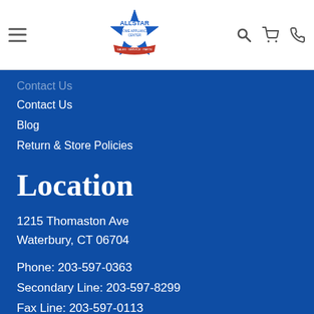[Figure (logo): Allstar Home Appliance Center logo with star and ribbon]
Contact Us (faded/partially visible)
Contact Us
Blog
Return & Store Policies
Location
1215 Thomaston Ave
Waterbury, CT 06704
Phone: 203-597-0363
Secondary Line: 203-597-8299
Fax Line: 203-597-0113
Email: allstarappliance@sbcglobal.net